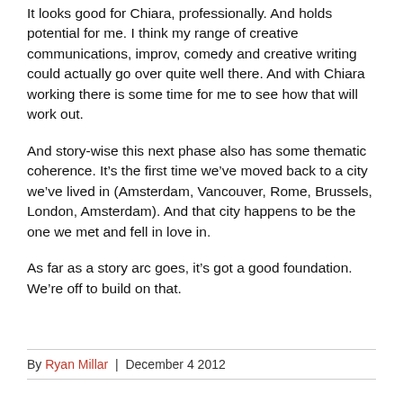It looks good for Chiara, professionally. And holds potential for me. I think my range of creative communications, improv, comedy and creative writing could actually go over quite well there. And with Chiara working there is some time for me to see how that will work out.
And story-wise this next phase also has some thematic coherence. It’s the first time we’ve moved back to a city we’ve lived in (Amsterdam, Vancouver, Rome, Brussels, London, Amsterdam). And that city happens to be the one we met and fell in love in.
As far as a story arc goes, it’s got a good foundation. We’re off to build on that.
By Ryan Millar | December 4 2012